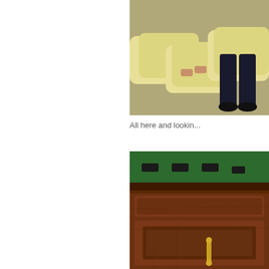[Figure (photo): Photo of yellow/cream colored sofas or cushions with a person's legs visible, taken from above]
All here and lookin...
Do I need to menti... was a lot of work in... lot of fun too.  Obv...
[Figure (photo): Photo of a wooden cabinet or sideboard with dark wood panels and a gold decorative handle, green background visible at top]